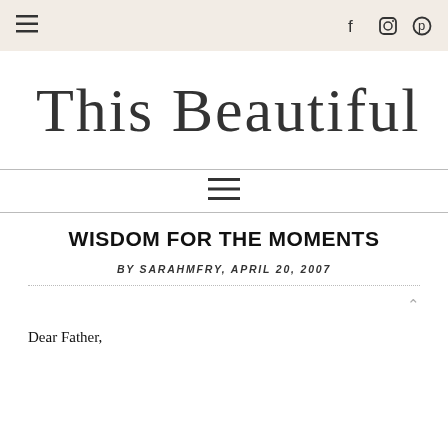≡  [hamburger menu] | [facebook] [instagram] [pinterest]
[Figure (logo): Cursive script logo reading 'This Beautiful Grace']
≡ [navigation menu bar]
WISDOM FOR THE MOMENTS
BY SARAHMFRY, APRIL 20, 2007
Dear Father,